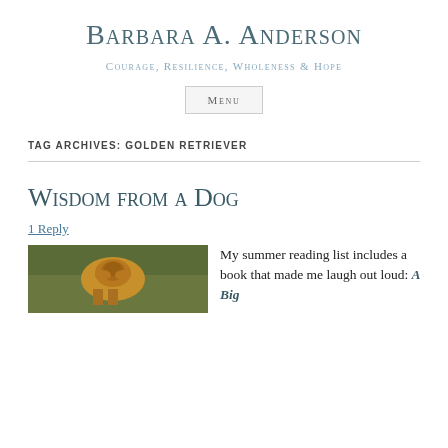Barbara A. Anderson
Courage, Resilience, Wholeness & Hope
Menu
Tag Archives: Golden Retriever
Wisdom from a Dog
1 Reply
[Figure (photo): A golden retriever dog sitting on grass]
My summer reading list includes a book that made me laugh out loud: A Big